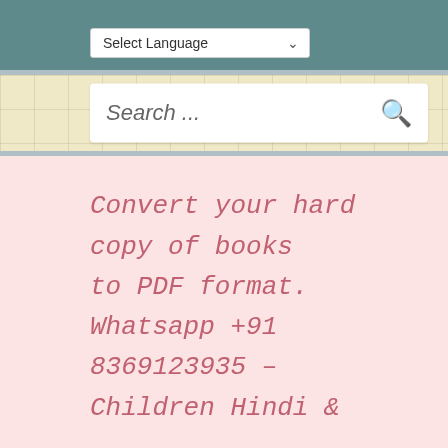[Figure (screenshot): Language selector dropdown showing 'Select Language' with a downward chevron, and 'Powered by Google Translate' text below it on a teal background]
[Figure (screenshot): Search box with 'Search ...' placeholder text and a magnifying glass icon, on a yellow grid-patterned background]
Convert your hard copy of books to PDF format. Whatsapp +91 8369123935 – Children Hindi &